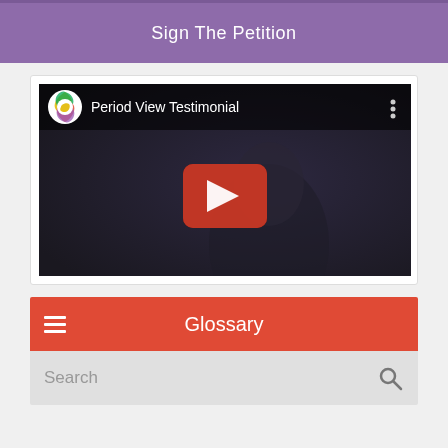Sign The Petition
[Figure (screenshot): YouTube-style video thumbnail showing 'Period View Testimonial' with a woman's face in a dark background and a red play button overlay]
Glossary
Search